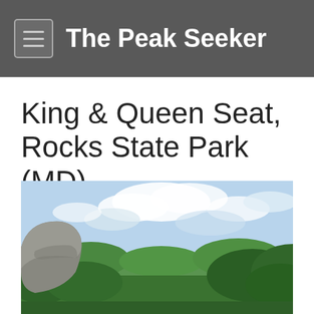The Peak Seeker
King & Queen Seat, Rocks State Park (MD)
[Figure (photo): Outdoor landscape photograph taken from an elevated rocky viewpoint at Rocks State Park, Maryland. A large granite boulder is visible on the left. Green deciduous trees frame the right side and foreground. The background shows a rolling wooded landscape under a partly cloudy blue sky.]